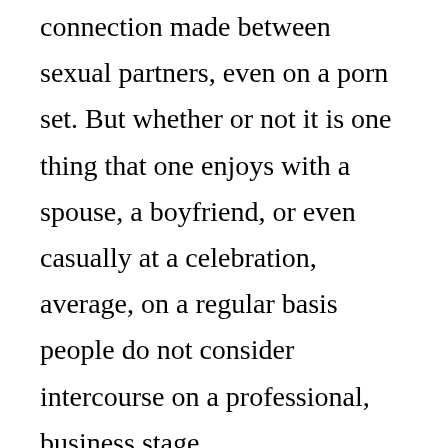connection made between sexual partners, even on a porn set. But whether or not it is one thing that one enjoys with a spouse, a boyfriend, or even casually at a celebration, average, on a regular basis people do not consider intercourse on a professional, business stage.
There’s loads of preparation that goes into switching from one job to another, especially if it is a new business that occurs to be X-